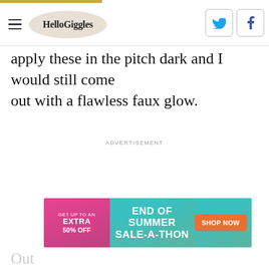HelloGiggles
apply these in the pitch dark and I would still come out with a flawless faux glow.
ADVERTISEMENT
[Figure (infographic): End of Summer Sale-a-Thon advertisement banner: pink left panel with 'GET UP TO AN EXTRA 50% OFF', teal middle panel with 'END OF SUMMER SALE-A-THON', orange 'SHOP NOW' button on right]
Out